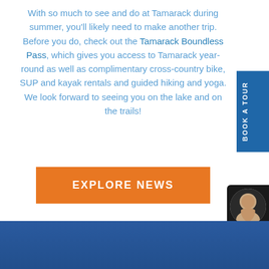With so much to see and do at Tamarack during summer, you'll likely need to make another trip. Before you do, check out the Tamarack Boundless Pass, which gives you access to Tamarack year-round as well as complimentary cross-country bike, SUP and kayak rentals and guided hiking and yoga. We look forward to seeing you on the lake and on the trails!
[Figure (other): Blue vertical tab button on right edge reading BOOK A TOUR]
[Figure (other): Orange button labeled EXPLORE NEWS]
[Figure (photo): Live chat widget with photo of smiling woman and text NEED HELP? CLICK TO LIVE CHAT]
[Figure (other): Dark blue footer band at bottom of page]